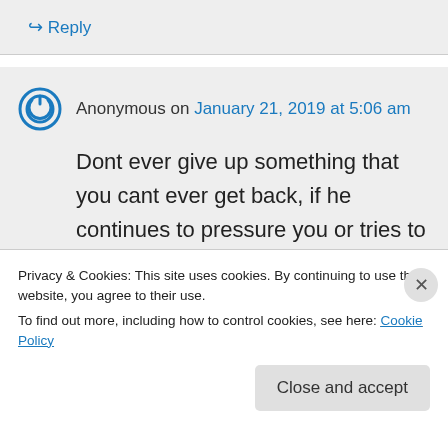↪ Reply
Anonymous on January 21, 2019 at 5:06 am
Dont ever give up something that you cant ever get back, if he continues to pressure you or tries to do something to hurt you then its a sign he only wants you to sleep with him. You can get a lot of things in this life...
Privacy & Cookies: This site uses cookies. By continuing to use this website, you agree to their use.
To find out more, including how to control cookies, see here: Cookie Policy
Close and accept